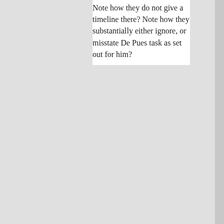Note how they do not give a timeline there? Note how they substantially either ignore, or misstate De Pues task as set out for him?
JD (e2fc98) — 8/29/2007 @ 8:54 pm
27. JD,

Who cares about “timelines” or “tasks?”

The New
The New